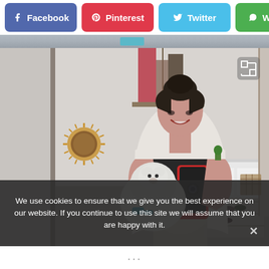[Figure (screenshot): Social media share buttons: Facebook (blue-purple), Pinterest (red), Twitter (light blue), WhatsApp (green, partially cropped)]
[Figure (photo): Woman taking a mirror selfie in a bedroom/dressing room while holding a small white fluffy dog. She has dark hair in a bun, wearing a white fuzzy cardigan over a black crop top. Room has a sunburst mirror, shelves with clothes, a white dresser, shoe rack, and framed prints.]
We use cookies to ensure that we give you the best experience on our website. If you continue to use this site we will assume that you are happy with it.